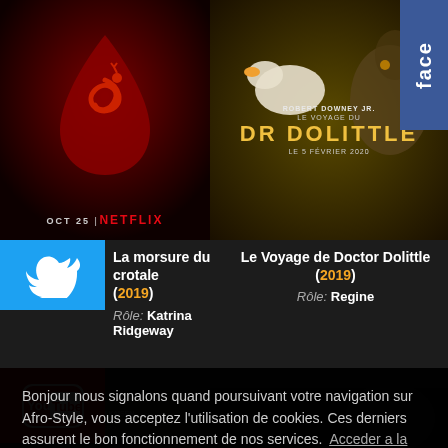[Figure (photo): Movie poster for 'La morsure du crotale' (2019) - Netflix film with red background showing a snake in a blood drop shape. Text: OCT 25 | NETFLIX]
[Figure (photo): Movie poster for 'Le Voyage du Dr Dolittle' (2019) featuring Robert Downey Jr. with animals including a duck. Yellow title text on dark background.]
[Figure (logo): Facebook social media tab on right side, blue background with 'face' text visible]
[Figure (logo): Twitter social media tab on left side, blue background with bird logo]
[Figure (logo): YouTube social media tab on left side, red background with YouTube logo]
La morsure du crotale (2019)
Rôle: Katrina Ridgeway
Le Voyage de Doctor Dolittle (2019)
Rôle: Regine
Bonjour nous signalons quand poursuivant votre navigation sur Afro-Style, vous acceptez l'utilisation de cookies. Ces derniers assurent le bon fonctionnement de nos services. Acceder a la charte
Je Poursuis...
[Figure (photo): Partial movie poster at bottom left, dark grey/muted tones with text partially visible]
[Figure (photo): Partial movie poster at bottom right, dark tones]